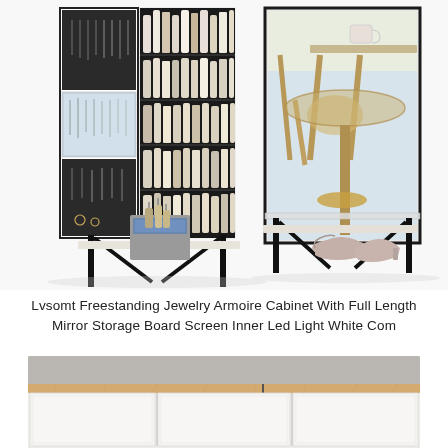[Figure (photo): Two views of a freestanding jewelry armoire cabinet: left view shows the cabinet open with jewelry organizers and many cosmetic/beauty product bottles stored inside on shelves, right view shows the mirror side closed with shoes on the bottom shelf]
Lvsomt Freestanding Jewelry Armoire Cabinet With Full Length Mirror Storage Board Screen Inner Led Light White Com
[Figure (photo): A bathroom mirror cabinet with LED light bar mounted on top, featuring white cabinet doors and a natural wood finish on the top shelf/frame]